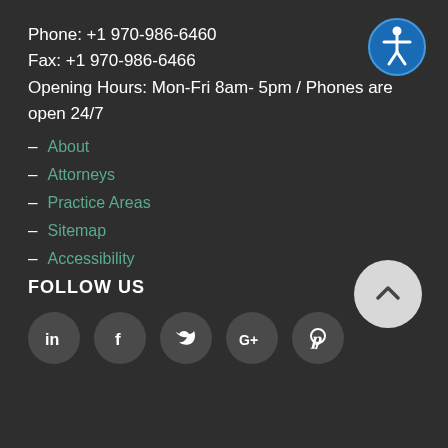Phone: +1 970-986-6460
Fax: +1 970-986-6466
Opening Hours: Mon-Fri 8am- 5pm / Phones are open 24/7
[Figure (illustration): Accessibility icon: blue circle with white wheelchair-accessible person symbol]
– About
– Attorneys
– Practice Areas
– Sitemap
– Accessibility
FOLLOW US
[Figure (illustration): Back to top button: light gray circle with upward chevron arrow]
[Figure (illustration): Social media icons row: LinkedIn, Facebook, Twitter, Google+, Pinterest — each in a dark gray circle]